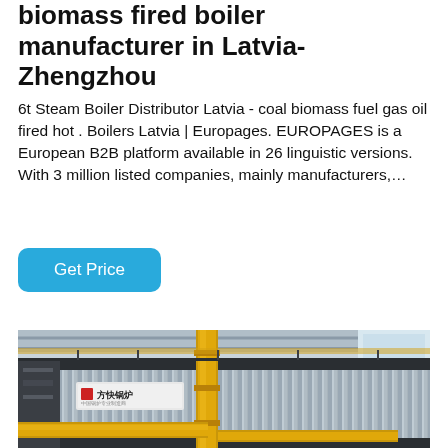biomass fired boiler manufacturer in Latvia-Zhengzhou
6t Steam Boiler Distributor Latvia - coal biomass fuel gas oil fired hot . Boilers Latvia | Europages. EUROPAGES is a European B2B platform available in 26 linguistic versions. With 3 million listed companies, mainly manufacturers,…
Get Price
[Figure (photo): Industrial biomass fired boiler in a factory setting, with corrugated metal cladding, yellow/gold piping, and Chinese manufacturer branding (方快锅炉) visible on the equipment.]